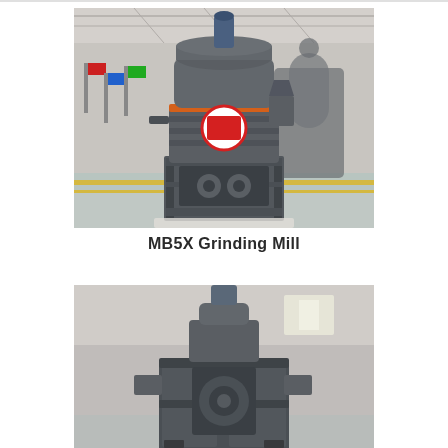[Figure (photo): Industrial MB5X Grinding Mill machine — a large dark grey vertical grinding mill with cylindrical body, red circular emblem on front, mounted on a heavy steel base frame, inside an industrial warehouse facility with other mills visible in background.]
MB5X Grinding Mill
[Figure (photo): Close-up partial view of another grinding mill or crusher machine, dark grey industrial equipment inside a warehouse with bright windows visible in background, image cropped at bottom of page.]